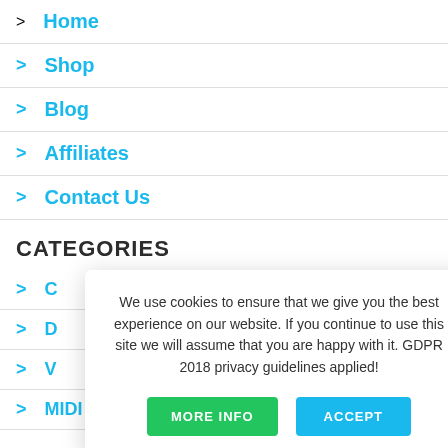> Home
> Shop
> Blog
> Affiliates
> Contact Us
CATEGORIES
> C…
> D…
> V…
> MIDI Loops
We use cookies to ensure that we give you the best experience on our website. If you continue to use this site we will assume that you are happy with it. GDPR 2018 privacy guidelines applied!